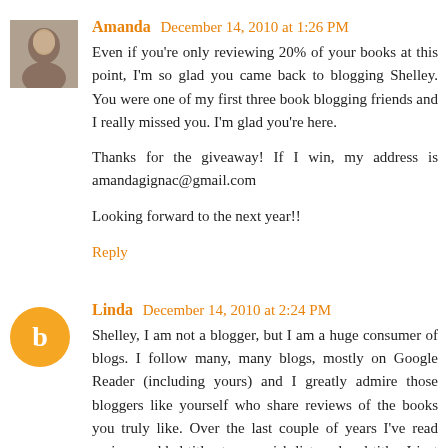Amanda December 14, 2010 at 1:26 PM
Even if you're only reviewing 20% of your books at this point, I'm so glad you came back to blogging Shelley. You were one of my first three book blogging friends and I really missed you. I'm glad you're here.

Thanks for the giveaway! If I win, my address is amandagignac@gmail.com

Looking forward to the next year!!
Reply
Linda December 14, 2010 at 2:24 PM
Shelley, I am not a blogger, but I am a huge consumer of blogs. I follow many, many blogs, mostly on Google Reader (including yours) and I greatly admire those bloggers like yourself who share reviews of the books you truly like. Over the last couple of years I've read reviews, added titles to my wish list, ordered titles I just "couldn't wait" to read.